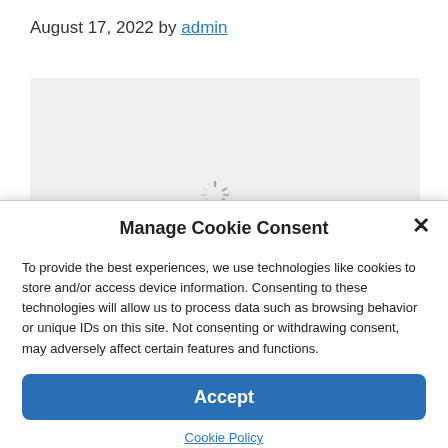August 17, 2022 by admin
[Figure (screenshot): Gray loading placeholder box with a spinning loading indicator in the center]
Manage Cookie Consent
To provide the best experiences, we use technologies like cookies to store and/or access device information. Consenting to these technologies will allow us to process data such as browsing behavior or unique IDs on this site. Not consenting or withdrawing consent, may adversely affect certain features and functions.
Accept
Cookie Policy